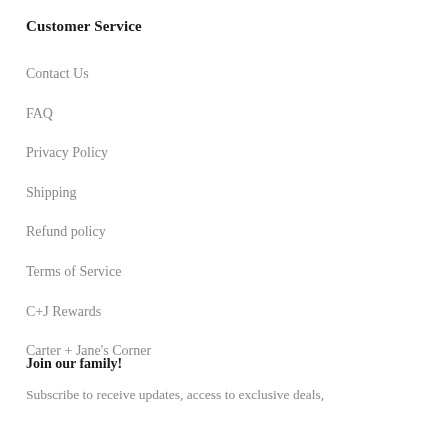Customer Service
Contact Us
FAQ
Privacy Policy
Shipping
Refund policy
Terms of Service
C+J Rewards
Carter + Jane's Corner
Join our family!
Subscribe to receive updates, access to exclusive deals,